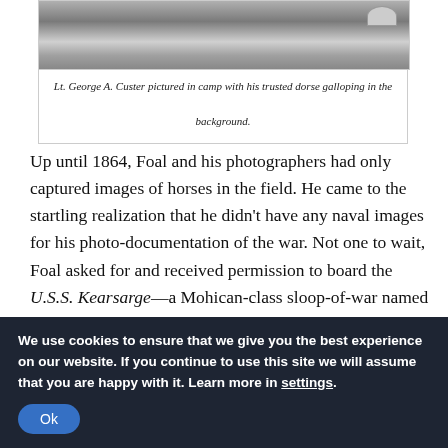[Figure (photo): Black and white historical photograph showing Lt. George A. Custer pictured in camp with his trusted horse galloping in the background.]
Lt. George A. Custer pictured in camp with his trusted dorse galloping in the background.
Up until 1864, Foal and his photographers had only captured images of horses in the field. He came to the startling realization that he didn't have any naval images for his photo-documentation of the war. Not one to wait, Foal asked for and received permission to board the U.S.S. Kearsarge—a Mohican-class sloop-of-war named after Mount Kearsarge in New Hampshire.
We use cookies to ensure that we give you the best experience on our website. If you continue to use this site we will assume that you are happy with it. Learn more in settings.